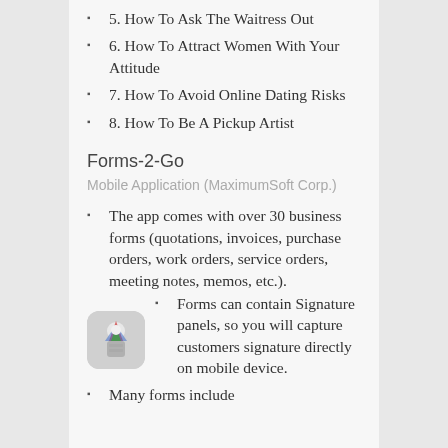5. How To Ask The Waitress Out
6. How To Attract Women With Your Attitude
7. How To Avoid Online Dating Risks
8. How To Be A Pickup Artist
Forms-2-Go
Mobile Application (MaximumSoft Corp.)
The app comes with over 30 business forms (quotations, invoices, purchase orders, work orders, service orders, meeting notes, memos, etc.).
Forms can contain Signature panels, so you will capture customers signature directly on mobile device.
[Figure (illustration): App icon for Forms-2-Go showing colorful figure on light background with rounded corners]
Many forms include